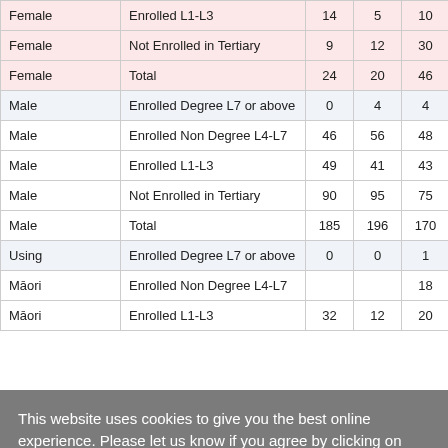|  |  |  |  |  |
| --- | --- | --- | --- | --- |
| Female | Enrolled L1-L3 | 14 | 5 | 10 |
| Female | Not Enrolled in Tertiary | 9 | 12 | 30 |
| Female | Total | 24 | 20 | 46 |
| Male | Enrolled Degree L7 or above | 0 | 4 | 4 |
| Male | Enrolled Non Degree L4-L7 | 46 | 56 | 48 |
| Male | Enrolled L1-L3 | 49 | 41 | 43 |
| Male | Not Enrolled in Tertiary | 90 | 95 | 75 |
| Male | Total | 185 | 196 | 170 |
| Using | Enrolled Degree L7 or above | 0 | 0 | 1 |
| Māori | Enrolled Non Degree L4-L7 |  |  | 18 |
| Māori | Enrolled L1-L3 | 32 | 12 | 20 |